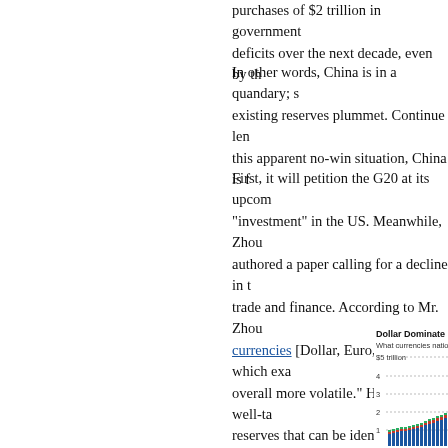purchases of $2 trillion in government deficits over the next decade, even by th
In other words, China is in a quandary; s existing reserves plummet. Continue len this apparent no-win situation, China is f
First, it will petition the G20 at its upcom "investment" in the US. Meanwhile, Zhou authored a paper calling for a decline in trade and finance. According to Mr. Zhou currencies [Dollar, Euro, Yen], which exa overall more volatile." His point is well-ta reserves that can be identified, perhaps crises occur, everyone flocks to these cu
[Figure (stacked-bar-chart): Stacked bar chart showing what currencies nations hold as reserves, with y-axis from 1 to $5 trillion, partially visible at bottom right of page]